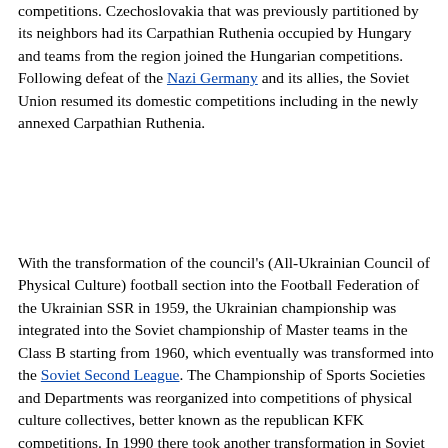competitions. Czechoslovakia that was previously partitioned by its neighbors had its Carpathian Ruthenia occupied by Hungary and teams from the region joined the Hungarian competitions. Following defeat of the Nazi Germany and its allies, the Soviet Union resumed its domestic competitions including in the newly annexed Carpathian Ruthenia.
With the transformation of the council's (All-Ukrainian Council of Physical Culture) football section into the Football Federation of the Ukrainian SSR in 1959, the Ukrainian championship was integrated into the Soviet championship of Master teams in the Class B starting from 1960, which eventually was transformed into the Soviet Second League. The Championship of Sports Societies and Departments was reorganized into competitions of physical culture collectives, better known as the republican KFK competitions. In 1990 there took another transformation in Soviet football and all republican championships were relegated to the Soviet Second League B or the lower second league, while the Soviet Second League was split into three regional groups instead of previous nine (republican-regional factor). Several former Soviet republics started the process of secession from the Union, such as the Baltic states and Georgia. In 1992 the Soviet championship ended and the 1991–92 Soviet Cup that was planned to be transformed into the CIS Cup was in reality simply an edition of the Russian Cup.